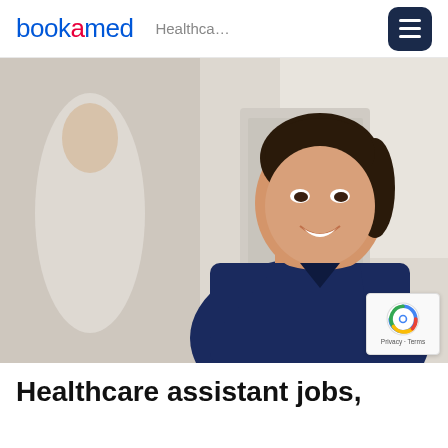bookamed  Healthca...
[Figure (photo): A smiling Asian female healthcare worker wearing navy blue scrubs and a lanyard, standing in a bright hospital corridor. A blurred figure in white is visible in the background.]
Healthcare assistant jobs,